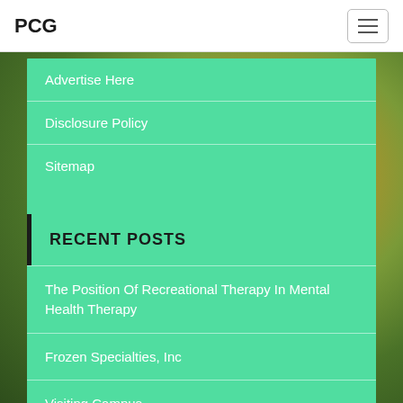PCG
Advertise Here
Disclosure Policy
Sitemap
RECENT POSTS
The Position Of Recreational Therapy In Mental Health Therapy
Frozen Specialties, Inc
Visiting Campus